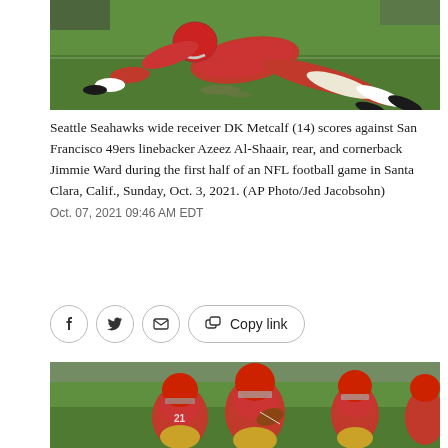[Figure (photo): Football player from Seattle Seahawks diving/sliding on green field turf]
Seattle Seahawks wide receiver DK Metcalf (14) scores against San Francisco 49ers linebacker Azeez Al-Shaair, rear, and cornerback Jimmie Ward during the first half of an NFL football game in Santa Clara, Calif., Sunday, Oct. 3, 2021. (AP Photo/Jed Jacobsohn)
Oct. 07, 2021 09:46 AM EDT
[Figure (photo): San Francisco 49ers players in red uniforms running on the football field]